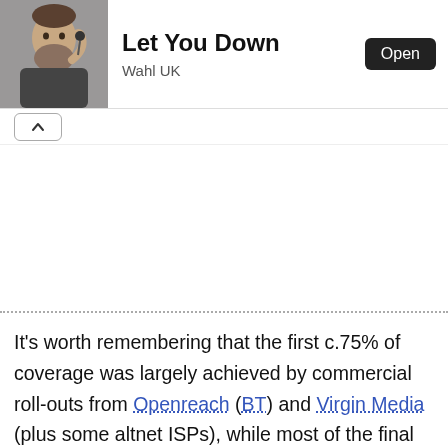[Figure (screenshot): App banner showing a man adjusting a microphone/earpiece, with app title 'Let You Down', publisher 'Wahl UK', and an 'Open' button]
[Figure (other): Collapse/chevron-up button bar]
It's worth remembering that the first c.75% of coverage was largely achieved by commercial roll-outs from Openreach (BT) and Virgin Media (plus some altnet ISPs), while most of the final 25-30% has benefited from around £1.6bn+ of public investment via the BDUK programme. More recently another £600m has